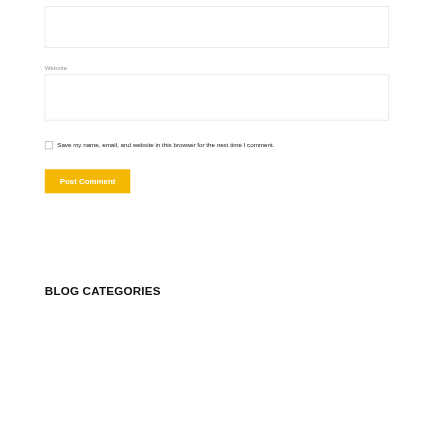[Figure (screenshot): Empty text input box at the top of the page]
Website
[Figure (screenshot): Empty text input box for website field]
Save my name, email, and website in this browser for the next time I comment.
Post Comment
BLOG CATEGORIES